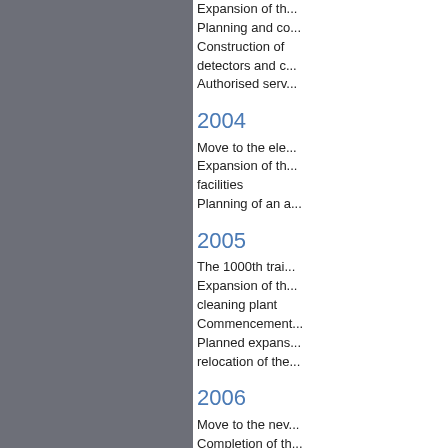Expansion of th...
Planning and co...
Construction of detectors and c...
Authorised serv...
2004
Move to the ele...
Expansion of th... facilities
Planning of an a...
2005
The 1000th trai...
Expansion of th... cleaning plant
Commencement...
Planned expans... relocation of the...
2006
Move to the nev...
Completion of th...
Relocation of th...
Planned employ...
Expansion of ser...